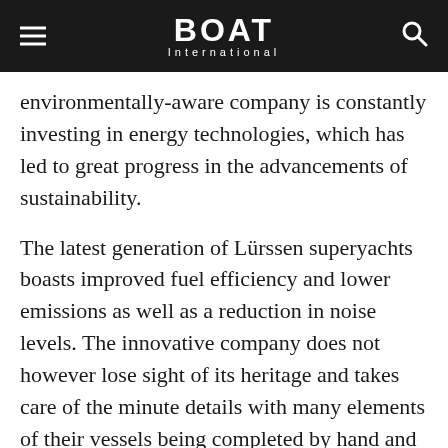BOAT International
environmentally-aware company is constantly investing in energy technologies, which has led to great progress in the advancements of sustainability.
The latest generation of Lürssen superyachts boasts improved fuel efficiency and lower emissions as well as a reduction in noise levels. The innovative company does not however lose sight of its heritage and takes care of the minute details with many elements of their vessels being completed by hand and employing the skills of unique craftsmen to deliver a yacht that every owner dreams of.
Today, 29 of the Top 100 yachts have been built by Lürssen (11 of the Top 20). The founder's dream to become one of the leading shipbuilders is still present in